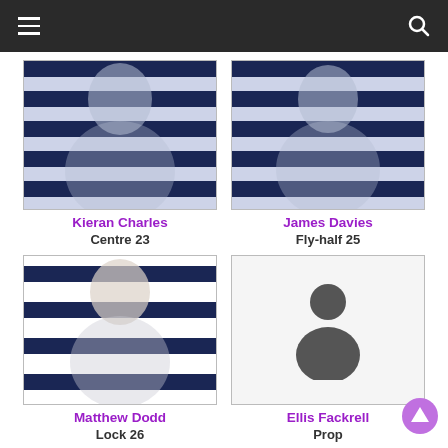Navigation header with hamburger menu and search icon
[Figure (photo): Kieran Charles in navy and white hooped rugby jersey]
Kieran Charles
Centre 23
[Figure (photo): James Davies in navy and white hooped rugby jersey]
James Davies
Fly-half 25
[Figure (photo): Matthew Dodd in navy and white hooped rugby jersey]
Matthew Dodd
Lock 26
[Figure (illustration): Ellis Fackrell placeholder silhouette icon]
Ellis Fackrell
Prop
[Figure (photo): Partial photo of rugby player at bottom left]
[Figure (illustration): Placeholder silhouette icon at bottom right]